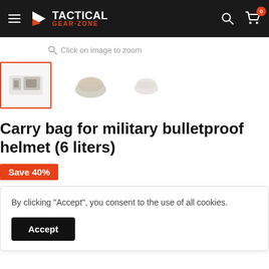Tactical Gear-Zone — Navigation header with hamburger menu, logo, search and cart icons
Click on image to zoom
[Figure (photo): Three product thumbnail images of a carry bag for military bulletproof helmet — first selected with red border]
Carry bag for military bulletproof helmet (6 liters)
Save 40%
By clicking "Accept", you consent to the use of all cookies.
Accept